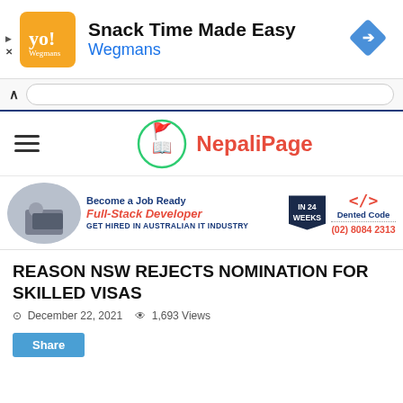[Figure (infographic): Advertisement banner: Wegmans 'Snack Time Made Easy' ad with orange logo, navigation arrow icon, play and close buttons]
[Figure (screenshot): Browser navigation bar with up caret and address/search field]
[Figure (logo): NepaliPage website header with hamburger menu, circular logo with person and flag, and red NepaliPage text]
[Figure (infographic): Advertisement for Dented Code: Become a Job Ready Full-Stack Developer in 24 Weeks, GET HIRED IN AUSTRALIAN IT INDUSTRY, phone (02) 8084 2313]
REASON NSW REJECTS NOMINATION FOR SKILLED VISAS
December 22, 2021   1,693 Views